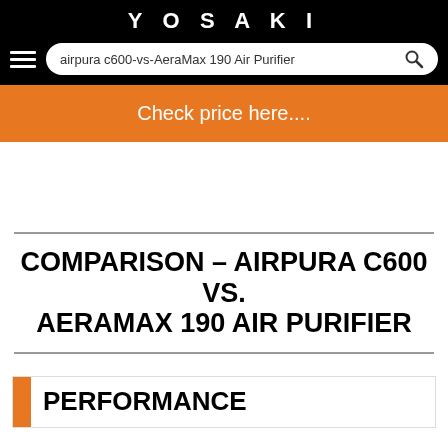YOSAKI
airpura c600-vs-AeraMax 190 Air Purifier
Check price here....
COMPARISON – AIRPURA C600 VS. AERAMAX 190 AIR PURIFIER
PERFORMANCE